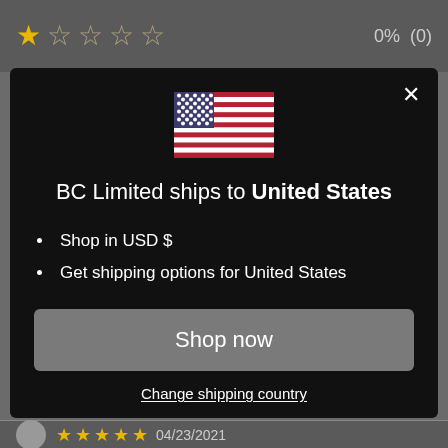[Figure (screenshot): One filled gold star followed by four empty/outline stars, showing a 1-star rating]
0%   (0)
[Figure (screenshot): Modal dialog on dark background. Shows US flag icon, title 'BC Limited ships to United States', bullet points 'Shop in USD $' and 'Get shipping options for United States', a 'Shop now' button, and 'Change shipping country' link. Close (X) button in top right.]
[Figure (screenshot): Bottom section with avatar circle, five gold stars, and date 04/23/2021]